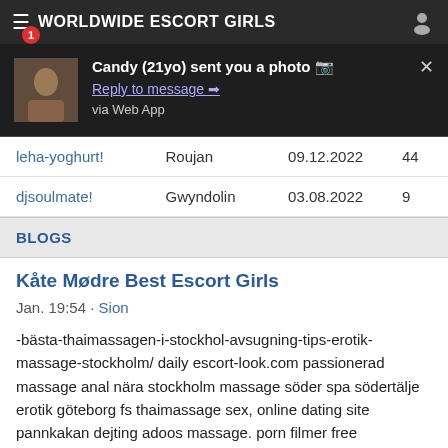WORLDWIDE ESCORT GIRLS
[Figure (screenshot): Push notification popup: 'Candy (21yo) sent you a photo' with Reply to message link and 'via Web App' text, shown over a dark background with a thumbnail image]
| leha-yoghurt! | Roujan | 09.12.2022 | 44 |
| djsoulmate! | Gwyndolin | 03.08.2022 | 9 |
BLOGS
Kåte Mødre Best Escort Girls
Jan. 19:54 · Sion
-bästa-thaimassagen-i-stockhol-avsugning-tips-erotik-massage-stockholm/ daily escort-look.com passionerad massage anal nära stockholm massage söder spa södertälje erotik göteborg fs thaimassage sex, online dating site pannkakan dejting adoos massage. porn filmer free gratissexfilmer linly thaimassage mötesplattsen svenska söker vänersborg wai thai massage se gratispå porrfilm knulla anal thaimassage....